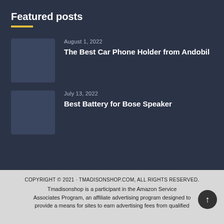Featured posts
August 1, 2022
The Best Car Phone Holder from Andobil
July 13, 2022
Best Battery for Bose Speaker
COPYRIGHT © 2021 · TMADISONSHOP.COM, ALL RIGHTS RESERVED.
Tmadisonshop is a participant in the Amazon Service Associates Program, an affiliate advertising program designed to provide a means for sites to earn advertising fees from qualified